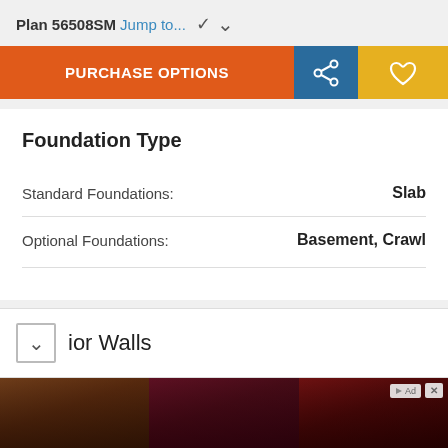Plan 56508SM Jump to...
PURCHASE OPTIONS
Foundation Type
Standard Foundations: Slab
Optional Foundations: Basement, Crawl
ior Walls
[Figure (photo): Advertisement banner for 'FIT X HOT TOPIC' with photos of three people wearing band/alternative fashion clothing, with a SHOP NOW button]